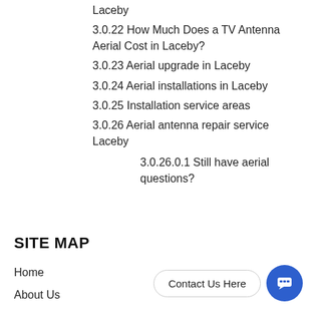Laceby
3.0.22 How Much Does a TV Antenna Aerial Cost in Laceby?
3.0.23 Aerial upgrade in Laceby
3.0.24 Aerial installations in Laceby
3.0.25 Installation service areas
3.0.26 Aerial antenna repair service Laceby
3.0.26.0.1 Still have aerial questions?
SITE MAP
Home
About Us